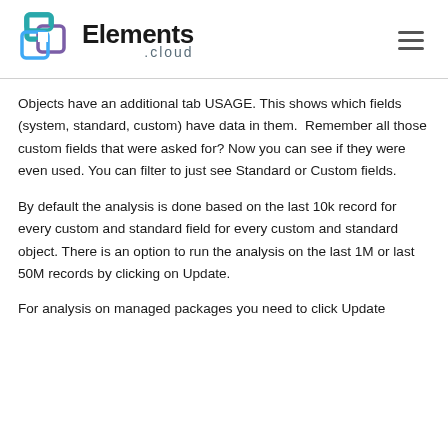[Figure (logo): Elements.cloud logo with overlapping square icons in teal and purple, and bold text 'Elements' with '.cloud' subtitle]
Objects have an additional tab USAGE. This shows which fields (system, standard, custom) have data in them.  Remember all those custom fields that were asked for? Now you can see if they were even used. You can filter to just see Standard or Custom fields.
By default the analysis is done based on the last 10k record for every custom and standard field for every custom and standard object. There is an option to run the analysis on the last 1M or last 50M records by clicking on Update.
For analysis on managed packages you need to click Update